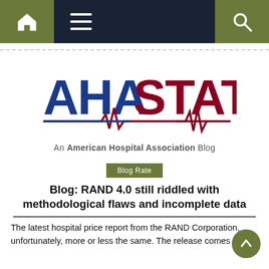AHA STAT — An American Hospital Association Blog (navigation bar)
[Figure (logo): AHA STAT logo: 'AHA' in dark blue bold letters, 'STAT' in dark red bold letters with an EKG/heartbeat waveform underline, tagline: An American Hospital Association Blog]
Blog Rate
Blog: RAND 4.0 still riddled with methodological flaws and incomplete data
The latest hospital price report from the RAND Corporation, unfortunately, more or less the same. The release comes